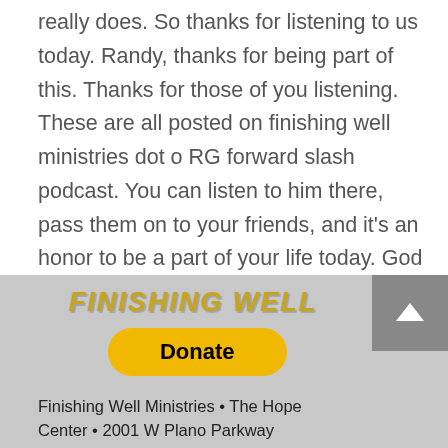really does. So thanks for listening to us today. Randy, thanks for being part of this. Thanks for those of you listening. These are all posted on finishing well ministries dot o RG forward slash podcast. You can listen to him there, pass them on to your friends, and it's an honor to be a part of your life today. God bless you. And let's keep going keep being open to the Spirit of God. Have a great day.
Previous
Next
[Figure (logo): Finishing Well ministries logo in gold/yellow metallic text on gray background]
Donate
Finishing Well Ministries • The Hope Center • 2001 W Plano Parkway